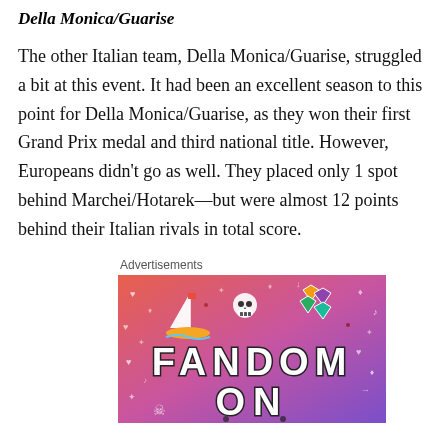Della Monica/Guarise
The other Italian team, Della Monica/Guarise, struggled a bit at this event. It had been an excellent season to this point for Della Monica/Guarise, as they won their first Grand Prix medal and third national title. However, Europeans didn't go as well. They placed only 1 spot behind Marchei/Hotarek—but were almost 12 points behind their Italian rivals in total score.
Advertisements
[Figure (illustration): Fandom On advertisement banner with colorful purple-orange gradient background, featuring illustrated stickers including a sailboat, skull, gems, and the text FANDOM ON in large bold letters with various icons and symbols scattered around.]